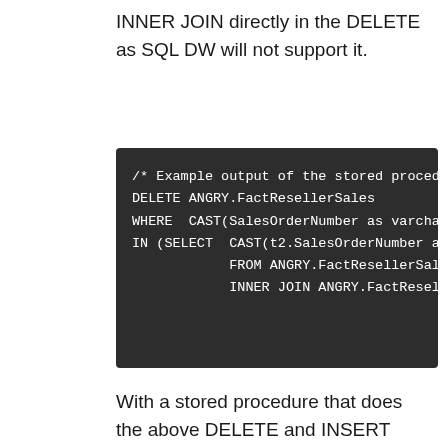INNER JOIN directly in the DELETE as SQL DW will not support it.
[Figure (screenshot): Code block showing SQL stored procedure output with DELETE, WHERE CAST, IN SELECT, FROM, and INNER JOIN statements on dark background]
With a stored procedure that does the above DELETE and INSERT based on records that already exist and INSERT all the data that has a modified date greater than the last watermark, we can now move on to the ADF pipeline nuances to consider between the base delta load template and this new version